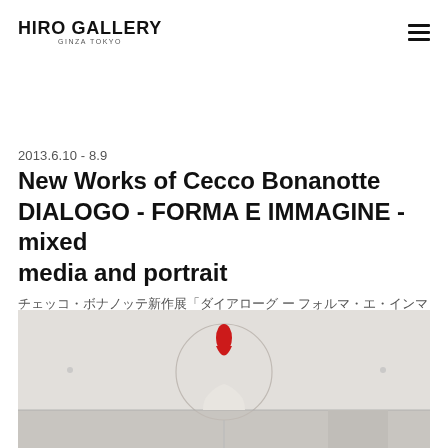HIRO GALLERY GINZA TOKYO
2013.6.10 - 8.9
New Works of Cecco Bonanotte DIALOGO - FORMA E IMMAGINE - mixed media and portrait
チェッコ・ボナノッテ新作展「ダイアローグ ー フォルマ・エ・インマジーネ」展
[Figure (photo): Artwork photograph showing a white sculptural piece with a red teardrop/droplet shaped element against a white background, displayed on a white table or surface.]